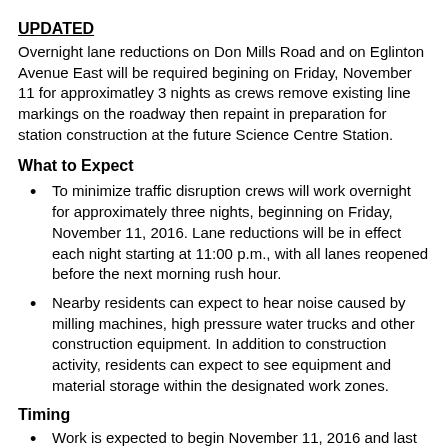UPDATED
Overnight lane reductions on Don Mills Road and on Eglinton Avenue East will be required begining on Friday, November 11 for approximatley 3 nights as crews remove existing line markings on the roadway then repaint in preparation for station construction at the future Science Centre Station.
What to Expect
To minimize traffic disruption crews will work overnight for approximately three nights, beginning on Friday, November 11, 2016. Lane reductions will be in effect each night starting at 11:00 p.m., with all lanes reopened before the next morning rush hour.
Nearby residents can expect to hear noise caused by milling machines, high pressure water trucks and other construction equipment. In addition to construction activity, residents can expect to see equipment and material storage within the designated work zones.
Timing
Work is expected to begin November 11, 2016 and last